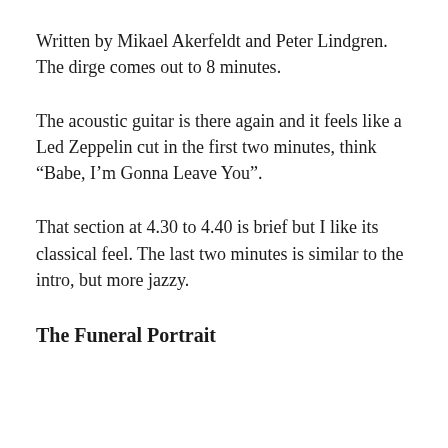Written by Mikael Akerfeldt and Peter Lindgren. The dirge comes out to 8 minutes.
The acoustic guitar is there again and it feels like a Led Zeppelin cut in the first two minutes, think “Babe, I’m Gonna Leave You”.
That section at 4.30 to 4.40 is brief but I like its classical feel. The last two minutes is similar to the intro, but more jazzy.
The Funeral Portrait